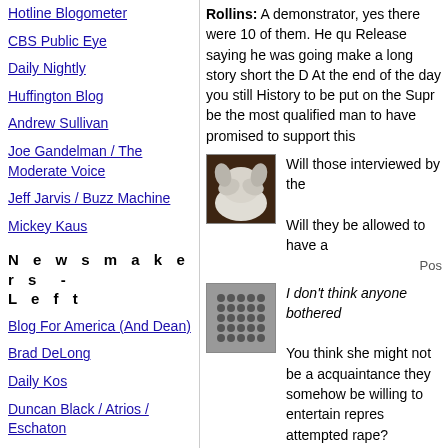Hotline Blogometer
CBS Public Eye
Daily Nightly
Huffington Blog
Andrew Sullivan
Joe Gandelman / The Moderate Voice
Jeff Jarvis / Buzz Machine
Mickey Kaus
N e w s m a k e r s  -  L e f t
Blog For America (And Dean)
Brad DeLong
Daily Kos
Duncan Black / Atrios / Eschaton
Jeralyn Merritt / TalkLeft
Josh Marshall / Talking Points
Kevin Drum / Mother Jones
Rollins: A demonstrator, yes there were 10 of them. He qu Release saying he was going make a long story short the D At the end of the day you still History to be put on the Supr be the most qualified man to have promised to support this
[Figure (photo): Photo of a dog (white fluffy dog covering face with paws) used as avatar]
Will those interviewed by the Will they be allowed to have a
Post
[Figure (photo): Avatar image showing a grid/matrix of grey dots on dark background]
I don't think anyone bothered You think she might not be a acquaintance they somehow be willing to entertain repres attempted rape? I think she's more of an ener